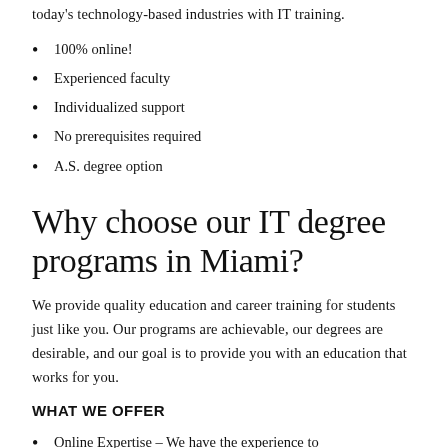today's technology-based industries with IT training.
100% online!
Experienced faculty
Individualized support
No prerequisites required
A.S. degree option
Why choose our IT degree programs in Miami?
We provide quality education and career training for students just like you. Our programs are achievable, our degrees are desirable, and our goal is to provide you with an education that works for you.
WHAT WE OFFER
Online Expertise – We have the experience to